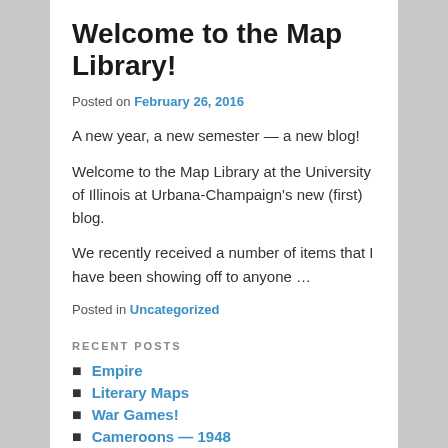Welcome to the Map Library!
Posted on February 26, 2016
A new year, a new semester — a new blog!
Welcome to the Map Library at the University of Illinois at Urbana-Champaign's new (first) blog.
We recently received a number of items that I have been showing off to anyone …
Posted in Uncategorized
RECENT POSTS
Empire
Literary Maps
War Games!
Cameroons — 1948